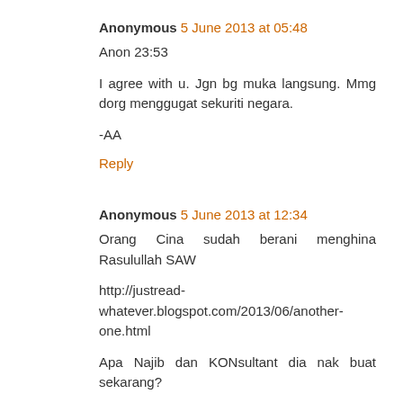Anonymous 5 June 2013 at 05:48
Anon 23:53
I agree with u. Jgn bg muka langsung. Mmg dorg menggugat sekuriti negara.
-AA
Reply
Anonymous 5 June 2013 at 12:34
Orang Cina sudah berani menghina Rasulullah SAW
http://justread-whatever.blogspot.com/2013/06/another-one.html
Apa Najib dan KONsultant dia nak buat sekarang?
Reply